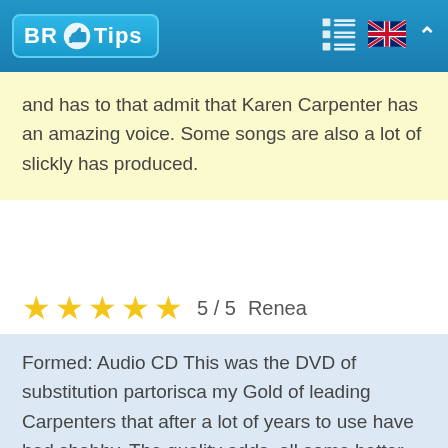BR Tips
and has to that admit that Karen Carpenter has an amazing voice. Some songs are also a lot of slickly has produced.
★★★★★ 5 / 5  Renea
Formed: Audio CD This was the DVD of substitution partorisca my Gold of leading Carpenters that after a lot of years to use have had shabby. The quality adds, all some better songs - ideal partorisca any defender of Carpenters or partorisca any the one who likes